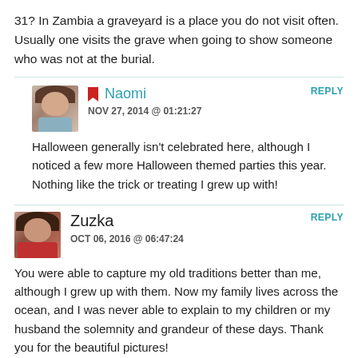31? In Zambia a graveyard is a place you do not visit often. Usually one visits the grave when going to show someone who was not at the burial.
Naomi
NOV 27, 2014 @ 01:21:27
Halloween generally isn't celebrated here, although I noticed a few more Halloween themed parties this year. Nothing like the trick or treating I grew up with!
Zuzka
OCT 06, 2016 @ 06:47:24
You were able to capture my old traditions better than me, although I grew up with them. Now my family lives across the ocean, and I was never able to explain to my children or my husband the solemnity and grandeur of these days. Thank you for the beautiful pictures!
This past Sunday, I was teaching to my CCD 7th graders that Halloween started as "All Hallow's Eve" the evening before the